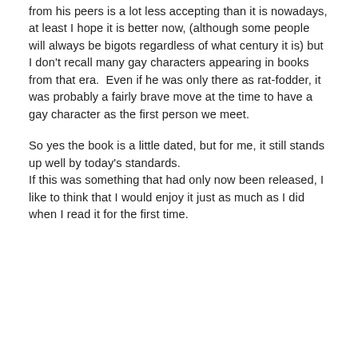from his peers is a lot less accepting than it is nowadays, at least I hope it is better now, (although some people will always be bigots regardless of what century it is) but I don't recall many gay characters appearing in books from that era.  Even if he was only there as rat-fodder, it was probably a fairly brave move at the time to have a gay character as the first person we meet.
So yes the book is a little dated, but for me, it still stands up well by today's standards.
If this was something that had only now been released, I like to think that I would enjoy it just as much as I did when I read it for the first time.